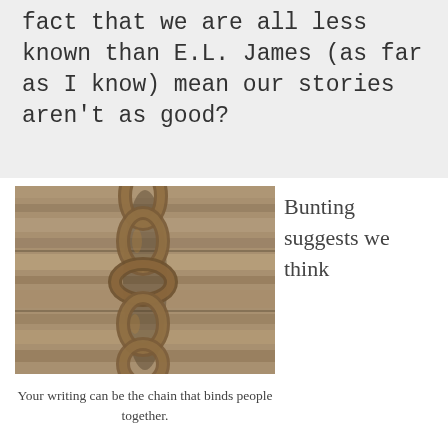fact that we are all less known than E.L. James (as far as I know) mean our stories aren't as good?
[Figure (photo): Close-up photo of a rusty metal chain hanging against weathered gray wooden boards]
Bunting suggests we think
Your writing can be the chain that binds people together.